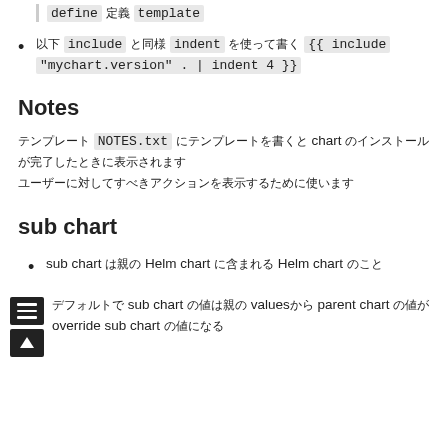define [CJK] template
[CJK] include [CJK] indent [CJK] {{ include "mychart.version" . | indent 4 }}
Notes
[CJK] NOTES.txt [CJK] chart [CJK]
sub chart
sub chart [CJK] Helm chart [CJK] Helm chart [CJK]
[CJK] sub chart [CJK] values[CJK] parent chart [CJK] override sub chart [CJK]